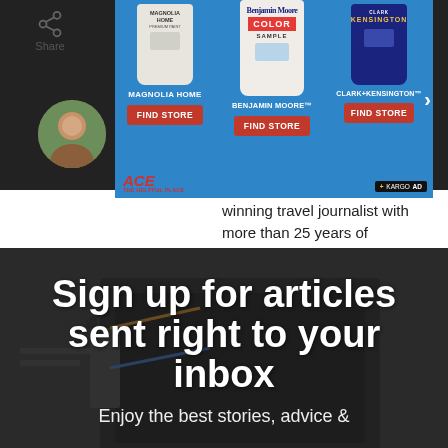[Figure (screenshot): ACE Hardware advertisement overlay showing three paint brands: Magnolia Home, Benjamin Moore Color Sample, and Clark+Kensington, each with a FIND STORE button, on a blue background. Kargo Ad badge in bottom-right. Arrow on right side.]
winning travel journalist with more than 25 years of experience. She covers topics ranging from family travel and Disney to honeymoons and romantic beaches, and everything in between.
[Figure (photo): Dark background promotional section with bold white text reading 'Sign up for articles sent right to your inbox' and subtitle text 'Enjoy the best stories, advice &']
Sign up for articles sent right to your inbox
Enjoy the best stories, advice &